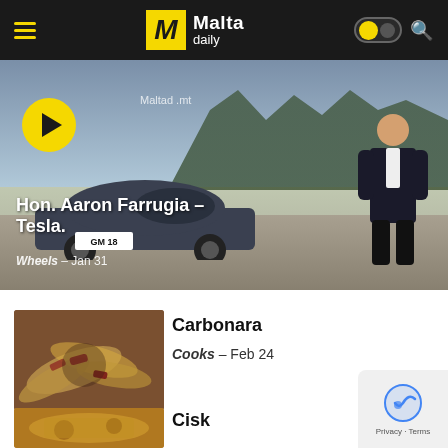Malta daily
[Figure (screenshot): Video thumbnail showing a Tesla car and a man in a suit, with title overlay 'Hon. Aaron Farrugia – Tesla.' and category 'Wheels – Jan 31'. A yellow play button is overlaid. Malta daily watermark visible.]
[Figure (photo): Close-up food photo of carbonara pasta]
Carbonara
Cooks – Feb 24
[Figure (photo): Close-up photo related to Cisk article]
Cisk